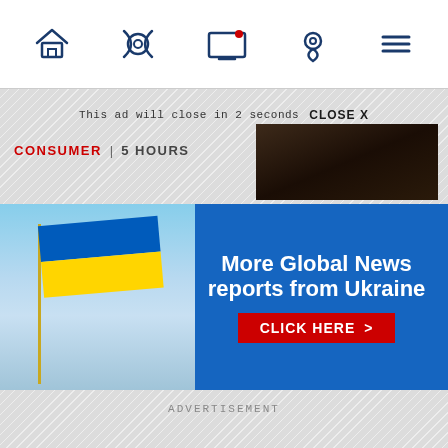Navigation bar with home, radio, screen, location, and menu icons
This ad will close in 2 seconds   CLOSE X
[Figure (photo): Close-up photo of a dark-furred dog]
CONSUMER | 5 HOURS
[Figure (infographic): Global News Ukraine promotion banner with Ukrainian flag, text 'More Global News reports from Ukraine' and 'CLICK HERE >' button on blue background]
ADVERTISEMENT